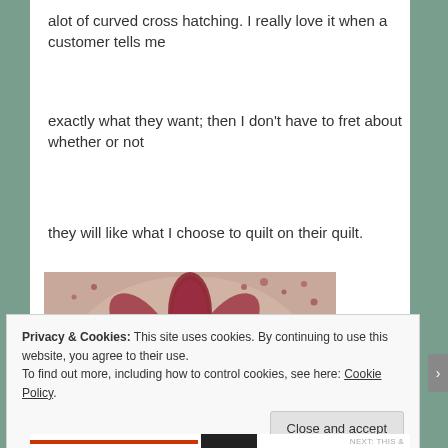alot of curved cross hatching. I really love it when a customer tells me
exactly what they want; then I don't have to fret about whether or not
they will like what I choose to quilt on their quilt.
[Figure (photo): Close-up photograph of a quilt featuring red and white floral/petal pattern with detailed quilting stitches including curved lines and cross-hatching]
Privacy & Cookies: This site uses cookies. By continuing to use this website, you agree to their use. To find out more, including how to control cookies, see here: Cookie Policy
Close and accept